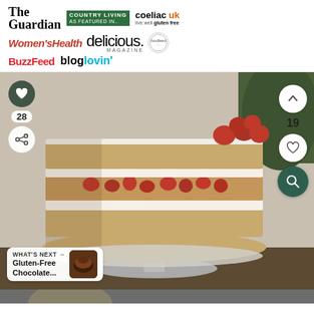[Figure (infographic): Media logos bar: The Guardian, Country Living (as featured in..), coeliac uk (live well gluten free), Women's Health, delicious. MAGAZINE, feedfeed, BuzzFeed, bloglovin']
[Figure (photo): Layered raspberry cream cake on a glass cake stand, cut open to reveal cream and raspberries layers, topped with fresh raspberries and powdered sugar. Social interaction buttons (heart, 28, share on left; up arrow, 19, heart, search on right). 'WHAT'S NEXT → Gluten-Free Chocolate...' thumbnail bar at bottom left.]